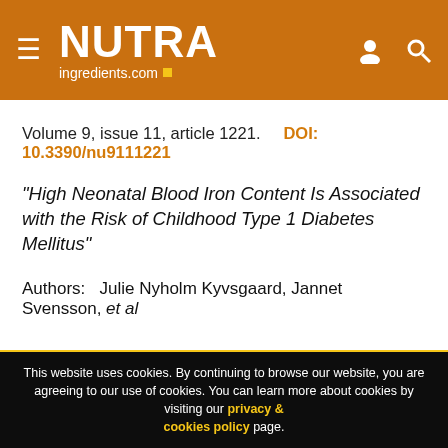NUTRAingredients.com
Volume 9, issue 11, article 1221.    DOI:   10.3390/nu9111221
“High Neonatal Blood Iron Content Is Associated with the Risk of Childhood Type 1 Diabetes Mellitus”
Authors:   Julie Nyholm Kyvsgaard, Jannet Svensson, et al
This website uses cookies. By continuing to browse our website, you are agreeing to our use of cookies. You can learn more about cookies by visiting our privacy & cookies policy page.
I Agree